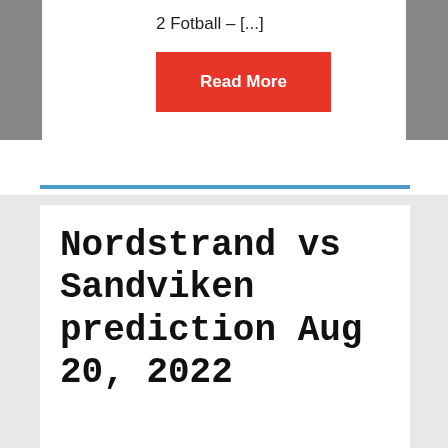2 Fotball – [...]
Read More
Nordstrand vs Sandviken prediction Aug 20, 2022